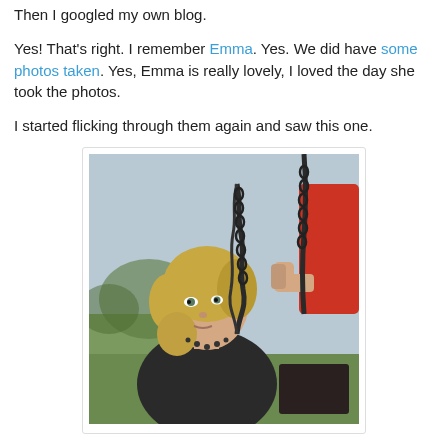Then I googled my own blog.
Yes! That's right. I remember Emma. Yes. We did have some photos taken. Yes, Emma is really lovely, I loved the day she took the photos.
I started flicking through them again and saw this one.
[Figure (photo): A blonde woman sitting on a swing, wearing a dark sweater and necklace, looking to the left. A child in a red top is partially visible behind her holding the chain of the swing. Outdoor setting with greenery in background.]